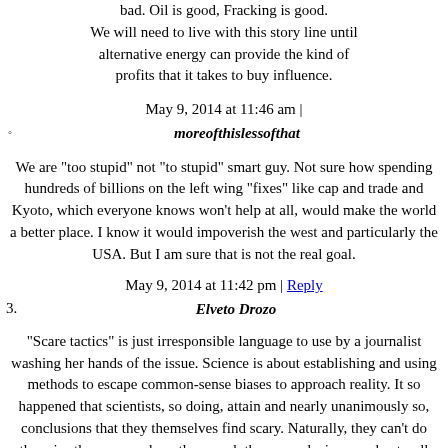bad. Oil is good, Fracking is good. We will need to live with this story line until alternative energy can provide the kind of profits that it takes to buy influence.
May 9, 2014 at 11:46 am |
moreofthislessofthat
We are "too stupid" not "to stupid" smart guy. Not sure how spending hundreds of billions on the left wing "fixes" like cap and trade and Kyoto, which everyone knows won't help at all, would make the world a better place. I know it would impoverish the west and particularly the USA. But I am sure that is not the real goal.
May 9, 2014 at 11:42 pm | Reply
Elveto Drozo
"Scare tactics" is just irresponsible language to use by a journalist washing her hands of the issue. Science is about establishing and using methods to escape common-sense biases to approach reality. It so happened that scientists, so doing, attain and nearly unanimously so, conclusions that they themselves find scary. Naturally, they can't do otherwise than expose how they reach these conclusions, and naturally